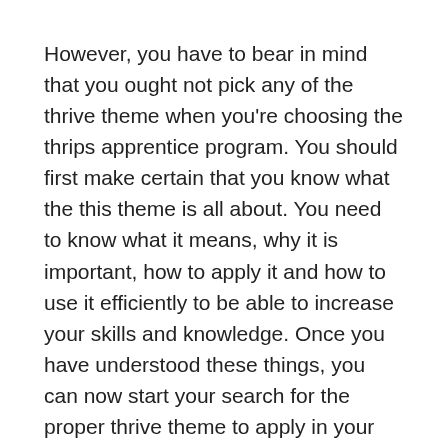However, you have to bear in mind that you ought not pick any of the thrive theme when you're choosing the thrips apprentice program. You should first make certain that you know what the this theme is all about. You need to know what it means, why it is important, how to apply it and how to use it efficiently to be able to increase your skills and knowledge. Once you have understood these things, you can now start your search for the proper thrive theme to apply in your own profession. It's very important that you decide on the ideal theme which suits your profession and lets you grow and succeed at it.
In the case that you do not wish to select a thrips motif, you can always opt for any theme. However, it is not enough just to get that you need